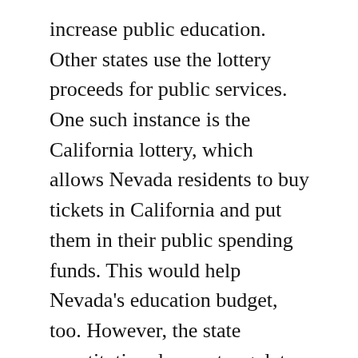increase public education. Other states use the lottery proceeds for public services. One such instance is the California lottery, which allows Nevada residents to buy tickets in California and put them in their public spending funds. This would help Nevada's education budget, too. However, the state constitution does not regulate the lottery. As such, Nevada lottery tickets can be bought in other states, albeit illegally. There is a possibility that a state lottery could be legalized in Nevada.
Online lottery pengeluaran hk sites and apps are convenient options for players, as they are free to download and do not require a physical location. But there are some downsides to